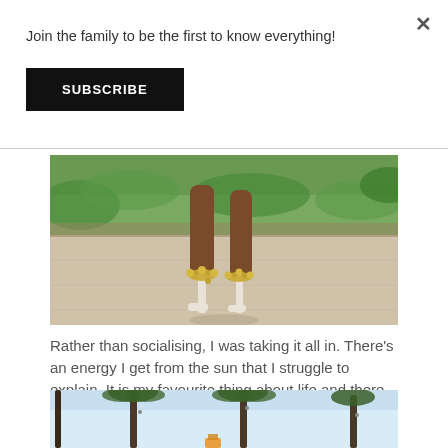Join the family to be the first to know everything!
SUBSCRIBE
[Figure (photo): Close-up photo from behind of a person's legs wearing white high-heeled sandals with gold floral ankle straps, standing on a light-colored patio surface with tropical green plants in the background.]
Rather than socialising, I was taking it all in. There's an energy I get from the sun that I struggle to explain. It is my favourite thing about life and there isn't a better treat than a kick-ass sunset with a cocktail in hand.
[Figure (photo): Partial photo showing palm trees against a light blue sky, with what appears to be a cocktail drink visible at the bottom edge.]